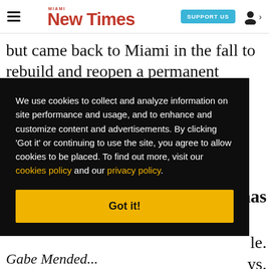Miami New Times — SUPPORT US — [user icon]
but came back to Miami in the fall to rebuild and reopen a permanent Broken Shaker. We'll
[Figure (screenshot): Cookie consent overlay with black background. Text: 'We use cookies to collect and analyze information on site performance and usage, and to enhance and customize content and advertisements. By clicking Got it or continuing to use the site, you agree to allow cookies to be placed. To find out more, visit our cookies policy and our privacy policy.' Yellow 'Got it!' button at bottom.]
has
le ys.
Gabe Mended...